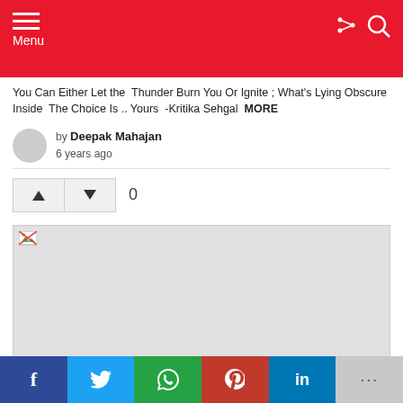Menu
You Can Either Let the Thunder Burn You Or Ignite ; What's Lying Obscure Inside The Choice Is .. Yours -Kritika Sehgal MORE
by Deepak Mahajan
6 years ago
[Figure (other): Vote up and vote down buttons with count 0]
[Figure (photo): Broken image placeholder (image failed to load)]
Facebook, Twitter, WhatsApp, Pinterest, LinkedIn, More share buttons